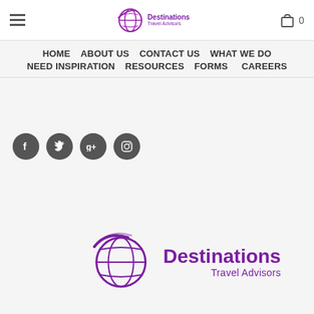[Figure (logo): Destinations Travel Advisors logo in header - globe icon with purple swoosh and text]
HOME  ABOUT US  CONTACT US  WHAT WE DO  NEED INSPIRATION  RESOURCES  FORMS  CAREERS
[Figure (infographic): Four dark circular social media icons: Facebook, Twitter, Google+, Instagram]
[Figure (logo): Large Destinations Travel Advisors logo - purple globe with swoosh and text 'Destinations Travel Advisors']